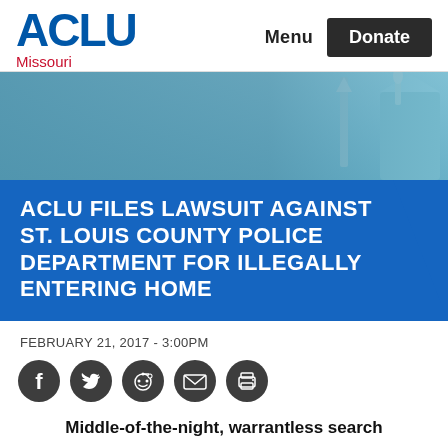ACLU Missouri — Menu | Donate
[Figure (photo): Hero image showing the Statue of Liberty against a blue sky background with teal color overlay]
ACLU FILES LAWSUIT AGAINST ST. LOUIS COUNTY POLICE DEPARTMENT FOR ILLEGALLY ENTERING HOME
FEBRUARY 21, 2017 - 3:00PM
[Figure (infographic): Social sharing icons row: Facebook, Twitter, Reddit, Email, Print]
Middle-of-the-night, warrantless search